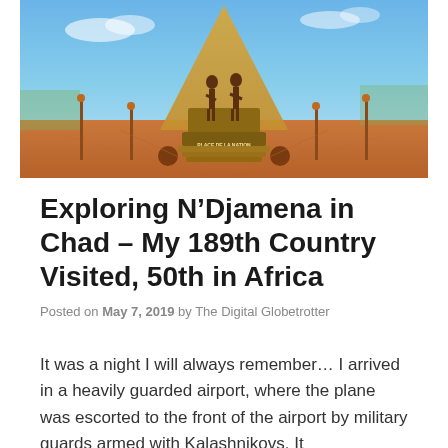[Figure (photo): A monument featuring two bronze soldier figures standing on a pedestal with the text 'PLACE DE LA NATION' visible on the base. The monument is surrounded by a wide red/orange plaza with decorative poles and a bright blue sky in the background.]
Exploring N’Djamena in Chad – My 189th Country Visited, 50th in Africa
Posted on May 7, 2019 by The Digital Globetrotter
It was a night I will always remember… I arrived in a heavily guarded airport, where the plane was escorted to the front of the airport by military guards armed with Kalashnikovs. It